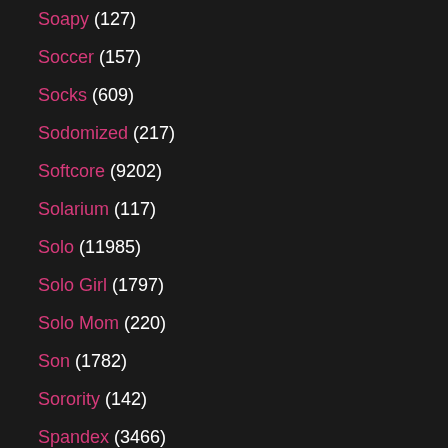Soapy (127)
Soccer (157)
Socks (609)
Sodomized (217)
Softcore (9202)
Solarium (117)
Solo (11985)
Solo Girl (1797)
Solo Mom (220)
Son (1782)
Sorority (142)
Spandex (3466)
Spanish (3032)
Spanking (5209)
Speculum (173)
Sperm (2689)